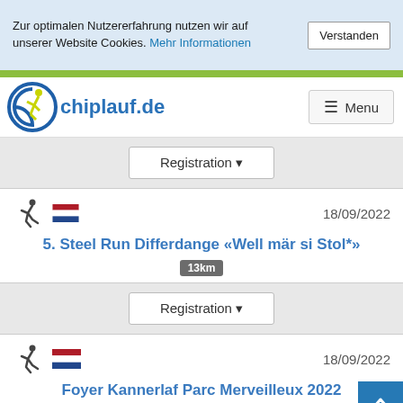Zur optimalen Nutzererfahrung nutzen wir auf unserer Website Cookies. Mehr Informationen
Verstanden
[Figure (logo): chiplauf.de logo with runner icon]
Menu
Registration
18/09/2022
5. Steel Run Differdange «Well mär si Stol*»
13km
Registration
18/09/2022
Foyer Kannerlaf Parc Merveilleux 2022
1.30km  0.80km  0.40km